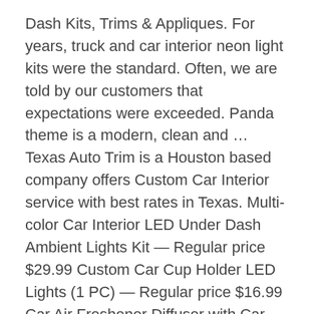Dash Kits, Trims & Appliques. For years, truck and car interior neon light kits were the standard. Often, we are told by our customers that expectations were exceeded. Panda theme is a modern, clean and … Texas Auto Trim is a Houston based company offers Custom Car Interior service with best rates in Texas. Multi-color Car Interior LED Under Dash Ambient Lights Kit — Regular price $29.99 Custom Car Cup Holder LED Lights (1 PC) — Regular price $16.99 Car Air Freshener Diffuser with Car … Compare Products . interior dash, interior board, trim kit, set, dashboard, inserts, logo, emblem, chrome letters, chrome mirror covers, chrome door handles, exterior wind deflectors, rain guards, real carbon fiber sets, motorcycle real carbon fiber gas tank covers, chrome tail lights covers, chrome head light covers, moldings Buy a custom dash kit made just for your car.  Feb 14, 2019 - Explore William